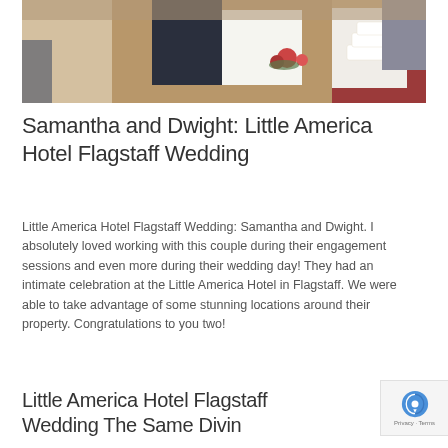[Figure (photo): Wedding reception scene showing a bride and groom cutting or serving cake, with a decorated white wedding cake visible on the right side and festively decorated tables in the background.]
Samantha and Dwight: Little America Hotel Flagstaff Wedding
Little America Hotel Flagstaff Wedding: Samantha and Dwight. I absolutely loved working with this couple during their engagement sessions and even more during their wedding day! They had an intimate celebration at the Little America Hotel in Flagstaff. We were able to take advantage of some stunning locations around their property. Congratulations to you two!
Little America Hotel Flagstaff Wedding The Same Divine